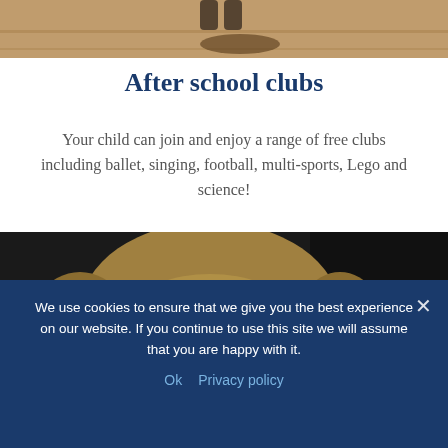[Figure (photo): Partial view of a photo at the top of the page showing feet/floor area, cropped at the top edge]
After school clubs
Your child can join and enjoy a range of free clubs including ballet, singing, football, multi-sports, Lego and science!
[Figure (photo): Close-up photo of a young blond-haired boy looking upward, wearing a blue top, against a dark background]
We use cookies to ensure that we give you the best experience on our website. If you continue to use this site we will assume that you are happy with it.
Ok   Privacy policy